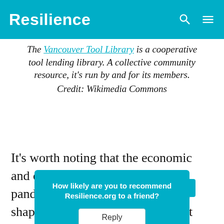Resilience
The Vancouver Tool Library is a cooperative tool lending library. A collective community resource, it's run by and for its members. Credit: Wikimedia Commons
It's worth noting that the economic and cultural shift created by the pandemic has also played a role in shaping the ideas people had about economic recovery and just transition. [Businesses] had more t[ime to rethink how] they
How likely are you to recommend Resilience.org to a friend?
Reply